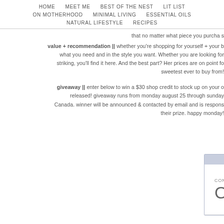HOME  MEET ME  BEST OF THE NEST  LIT LIST  ON MOTHERHOOD  MINIMAL LIVING  ESSENTIAL OILS  NATURAL LIFESTYLE  RECIPES
that no matter what piece you purchase
value + recommendation || whether you're shopping for yourself + your b what you need and in the style you want. Whether you are looking for striking, you'll find it here. And the best part? Her prices are on point fo sweetest ever to buy from!
giveaway || enter below to win a $30 shop credit to stock up on your o released! giveaway runs from monday august 25 through sunday Canada. winner will be announced & contacted by email and is respons their prize. happy monday!
[Figure (screenshot): Giveaway widget showing contest is over with 1680 total entries]